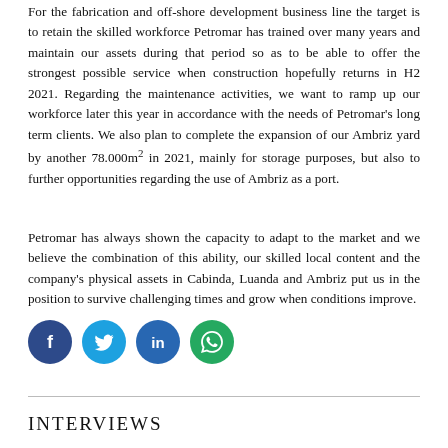For the fabrication and off-shore development business line the target is to retain the skilled workforce Petromar has trained over many years and maintain our assets during that period so as to be able to offer the strongest possible service when construction hopefully returns in H2 2021. Regarding the maintenance activities, we want to ramp up our workforce later this year in accordance with the needs of Petromar's long term clients. We also plan to complete the expansion of our Ambriz yard by another 78.000m² in 2021, mainly for storage purposes, but also to further opportunities regarding the use of Ambriz as a port.
Petromar has always shown the capacity to adapt to the market and we believe the combination of this ability, our skilled local content and the company's physical assets in Cabinda, Luanda and Ambriz put us in the position to survive challenging times and grow when conditions improve.
[Figure (other): Four social media share buttons: Facebook (dark blue circle with 'f'), Twitter (light blue circle with bird icon), LinkedIn (blue circle with 'in'), WhatsApp (green circle with phone/message icon)]
INTERVIEWS